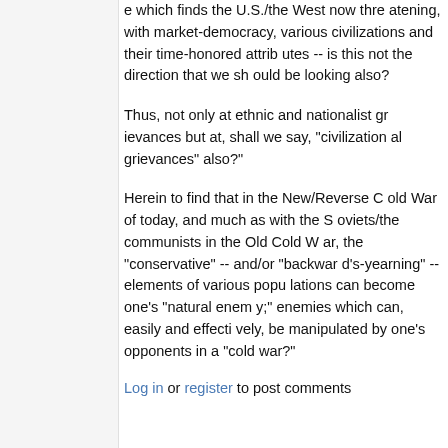e which finds the U.S./the West now threatening, with market-democracy, various civilizations and their time-honored attributes -- is this not the direction that we should be looking also?
Thus, not only at ethnic and nationalist grievances but at, shall we say, "civilizational grievances" also?"
Herein to find that in the New/Reverse Cold War of today, and much as with the Soviets/the communists in the Old Cold War, the "conservative" -- and/or "backward's-yearning" -- elements of various populations can become one's "natural enemy;" enemies which can, easily and effectively, be manipulated by one's opponents in a "cold war?"
Log in or register to post comments